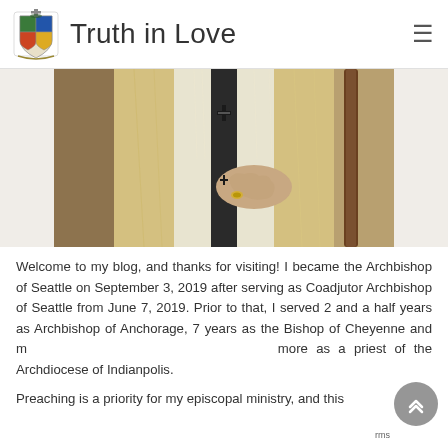Truth in Love
[Figure (photo): Close-up photo of a Catholic archbishop or priest in white and gold liturgical vestments, holding a staff, with a ring visible on one hand and a cross brooch on the vestments.]
Welcome to my blog, and thanks for visiting! I became the Archbishop of Seattle on September 3, 2019 after serving as Coadjutor Archbishop of Seattle from June 7, 2019. Prior to that, I served 2 and a half years as Archbishop of Anchorage, 7 years as the Bishop of Cheyenne and more as a priest of the Archdiocese of Indianpolis.
Preaching is a priority for my episcopal ministry, and this